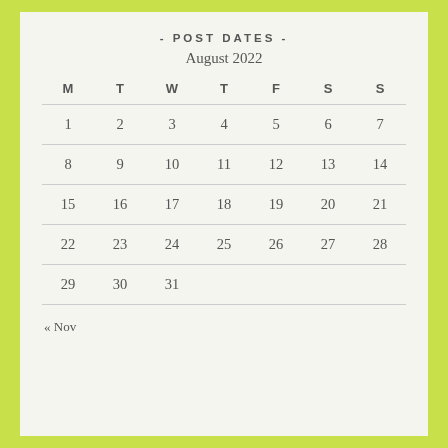- POST DATES -
August 2022
| M | T | W | T | F | S | S |
| --- | --- | --- | --- | --- | --- | --- |
| 1 | 2 | 3 | 4 | 5 | 6 | 7 |
| 8 | 9 | 10 | 11 | 12 | 13 | 14 |
| 15 | 16 | 17 | 18 | 19 | 20 | 21 |
| 22 | 23 | 24 | 25 | 26 | 27 | 28 |
| 29 | 30 | 31 |  |  |  |  |
« Nov